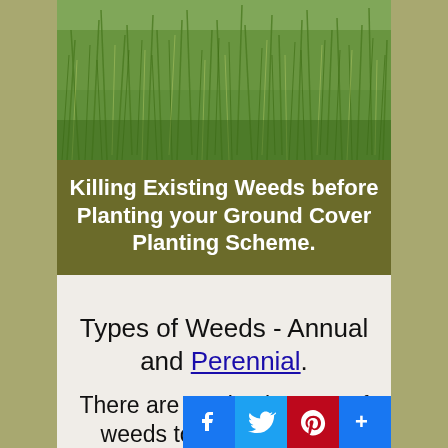[Figure (photo): Dense green weedy grass field, photograph taken outdoors]
Killing Existing Weeds before Planting your Ground Cover Planting Scheme.
Types of Weeds - Annual and Perennial.
There are two basic types of weeds to consider when deciding upon a course of action with groundcover plants.